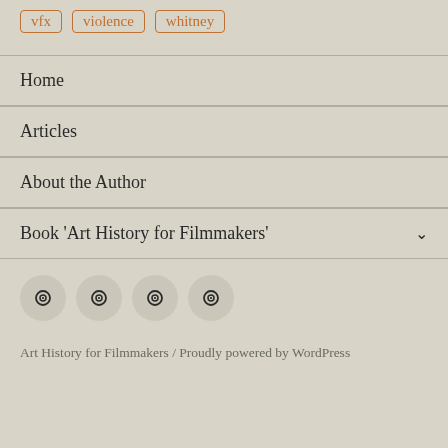vfx
violence
whitney
Home
Articles
About the Author
Book ‘Art History for Filmmakers’
[Figure (other): Four circular social media icons with a camera/lens symbol]
Art History for Filmmakers / Proudly powered by WordPress